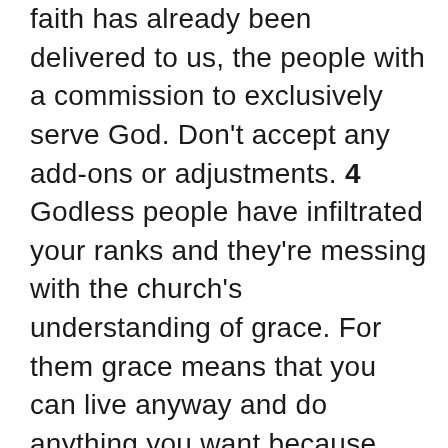faith has already been delivered to us, the people with a commission to exclusively serve God. Don't accept any add-ons or adjustments. 4 Godless people have infiltrated your ranks and they're messing with the church's understanding of grace. For them grace means that you can live anyway and do anything you want because any infraction is already forgiven. This unbridled approach to morality is a de facto denial of Jesus Christ, who is our only master and Lord. Their names were written long-ago into the logbook of the condemned.